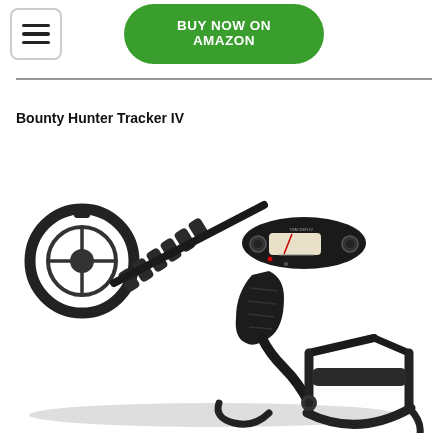[Figure (other): Hamburger menu icon in a rounded square box]
[Figure (other): Green rounded rectangle button with text BUY NOW ON AMAZON in white bold letters]
Bounty Hunter Tracker IV
[Figure (photo): Photo of a Bounty Hunter Tracker IV metal detector, black colored, showing the circular search coil on the left, the shaft, handle, control box with display in the middle, and arm cuff on the right, casting a shadow underneath]